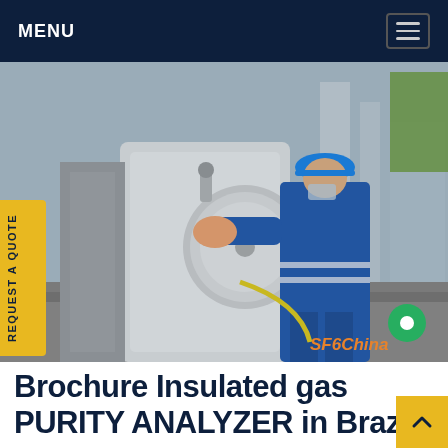MENU
[Figure (photo): Industrial worker in blue coveralls and blue hard hat working on large cylindrical SF6 gas equipment at an outdoor substation facility. Worker is pressing hands against a circular flange on a large grey tank. Various industrial pipes and equipment visible in background. SF6China watermark in orange.]
REQUEST A QUOTE
Brochure Insulated gas PURITY ANALYZER in Brazil